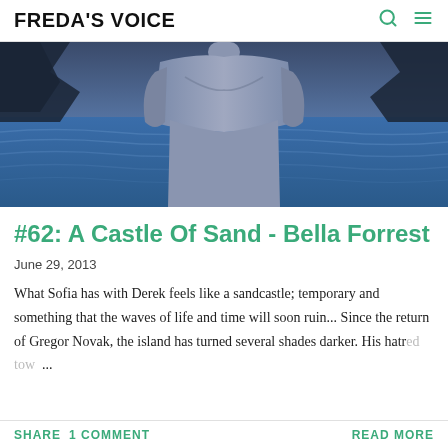FREDA'S VOICE
[Figure (photo): A shirtless male figure standing in front of blue ocean water with dark trees/rocks in the background, giving a mysterious and dramatic tone.]
#62: A Castle Of Sand - Bella Forrest
June 29, 2013
What Sofia has with Derek feels like a sandcastle; temporary and something that the waves of life and time will soon ruin... Since the return of Gregor Novak, the island has turned several shades darker. His hatred tow...
SHARE   1 COMMENT   READ MORE